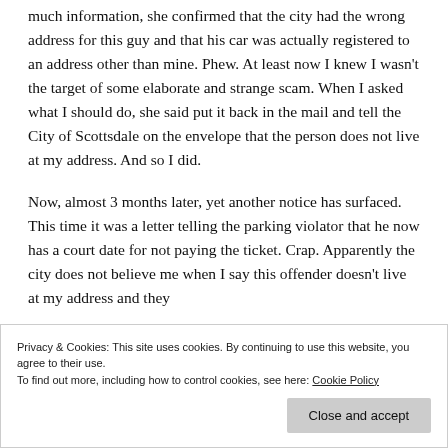much information, she confirmed that the city had the wrong address for this guy and that his car was actually registered to an address other than mine. Phew. At least now I knew I wasn't the target of some elaborate and strange scam. When I asked what I should do, she said put it back in the mail and tell the City of Scottsdale on the envelope that the person does not live at my address. And so I did.
Now, almost 3 months later, yet another notice has surfaced. This time it was a letter telling the parking violator that he now has a court date for not paying the ticket. Crap. Apparently the city does not believe me when I say this offender doesn't live at my address and they
called the city, continued to escalation to the city
Privacy & Cookies: This site uses cookies. By continuing to use this website, you agree to their use.
To find out more, including how to control cookies, see here: Cookie Policy